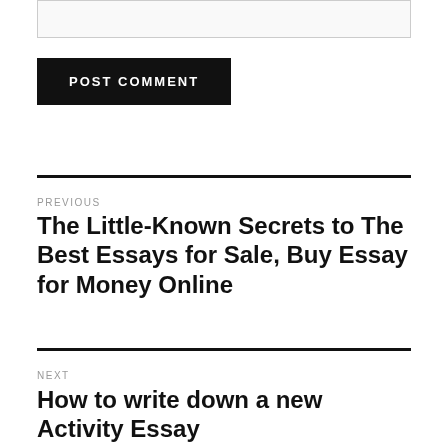[Figure (other): Text input box (comment field)]
POST COMMENT
PREVIOUS
The Little-Known Secrets to The Best Essays for Sale, Buy Essay for Money Online
NEXT
How to write down a new Activity Essay